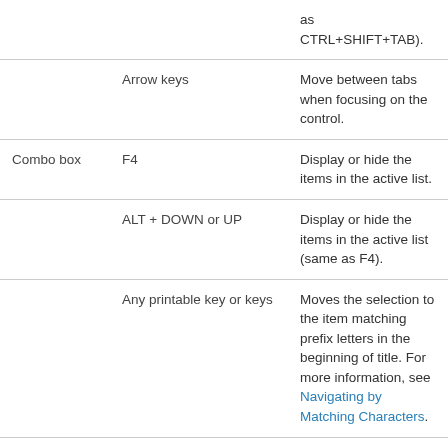| Control | Key | Description |
| --- | --- | --- |
|  |  | as CTRL+SHIFT+TAB). |
|  | Arrow keys | Move between tabs when focusing on the control. |
| Combo box | F4 | Display or hide the items in the active list. |
|  | ALT + DOWN or UP | Display or hide the items in the active list (same as F4). |
|  | Any printable key or keys | Moves the selection to the item matching prefix letters in the beginning of title. For more information, see Navigating by Matching Characters. |
| List view | SPACE | Locates new selection and anchor for the |